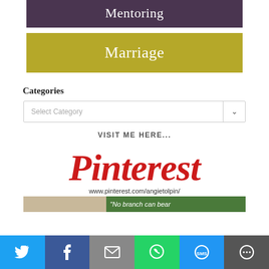[Figure (other): Mentoring category button - dark purple bar with white text 'Mentoring']
[Figure (other): Marriage category button - olive/gold bar with white text 'Marriage']
Categories
[Figure (other): Select Category dropdown box]
[Figure (other): Pinterest promotional image with 'VISIT ME HERE...' text, Pinterest logo in red script, and URL www.pinterest.com/angietolpin/]
[Figure (other): Partial thumbnail strip showing 'No branch can bear' text on green background]
[Figure (other): Social sharing bar with Twitter, Facebook, Email, WhatsApp, SMS, and More buttons]